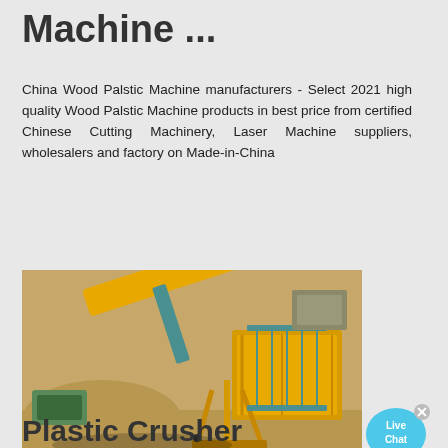Machine ...
China Wood Palstic Machine manufacturers - Select 2021 high quality Wood Palstic Machine products in best price from certified Chinese Cutting Machinery, Laser Machine suppliers, wholesalers and factory on Made-in-China
[Figure (infographic): Contact button with red envelope icon on left and dark grey label 'MAKIPAG-UGNAYAN SA AMIN', with a blue Live Chat speech bubble on the right]
[Figure (photo): Industrial yellow heavy machinery - a large yellow conveyor/crusher structure photographed from above in an outdoor mining or quarry setting with sandy terrain]
Plastic Crusher